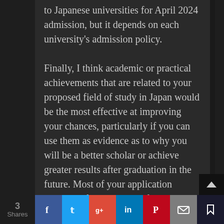to Japanese universities for April 2024 admission, but it depends on each university's admission policy. Finally, I think academic or practical achievements that are related to your proposed field of study in Japan would be the most effective at improving your chances, particularly if you can use them as evidence as to why you will be a better scholar or achieve greater results after graduation in the future. Most of your application should be focused on the future, not what you have achieved in the past, so if you have achievements unrelated to your field of study,
3 Shares | Facebook | Twitter | Google+ | LinkedIn | Pinterest | Email | Bookmark